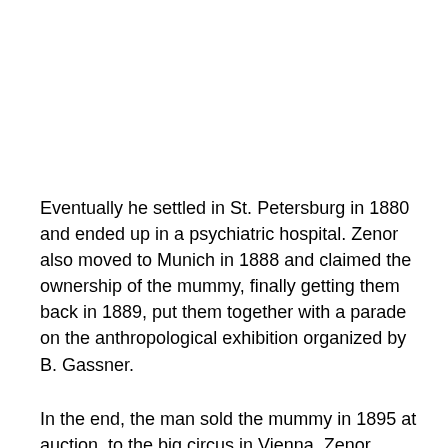Eventually he settled in St. Petersburg in 1880 and ended up in a psychiatric hospital. Zenor also moved to Munich in 1888 and claimed the ownership of the mummy, finally getting them back in 1889, put them together with a parade on the anthropological exhibition organized by B. Gassner.
In the end, the man sold the mummy in 1895 at auction, to the big circus in Vienna. Zenor married another man. Mummy soon disappeared from public view. They were introduced in Norway in 1921 with a certain Mr. Lund, who showed them in his “room of horrors.” In 1943,